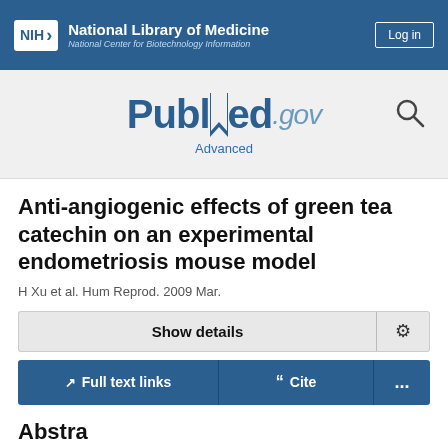NIH National Library of Medicine National Center for Biotechnology Information
[Figure (logo): PubMed.gov logo with search icon and Advanced link]
Anti-angiogenic effects of green tea catechin on an experimental endometriosis mouse model
H Xu et al. Hum Reprod. 2009 Mar.
Show details
Full text links  Cite  ...
Abstract